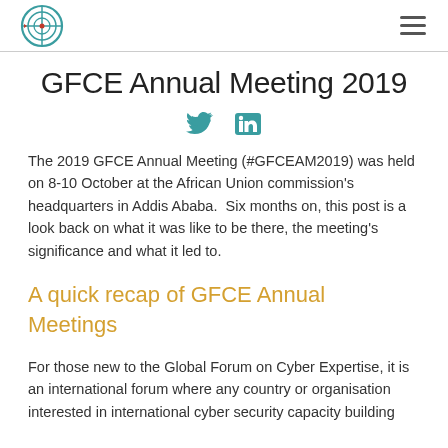GFCE logo and navigation
GFCE Annual Meeting 2019
[Figure (logo): Twitter and LinkedIn social media icons]
The 2019 GFCE Annual Meeting (#GFCEAM2019) was held on 8-10 October at the African Union commission’s headquarters in Addis Ababa.  Six months on, this post is a look back on what it was like to be there, the meeting’s significance and what it led to.
A quick recap of GFCE Annual Meetings
For those new to the Global Forum on Cyber Expertise, it is an international forum where any country or organisation interested in international cyber security capacity building